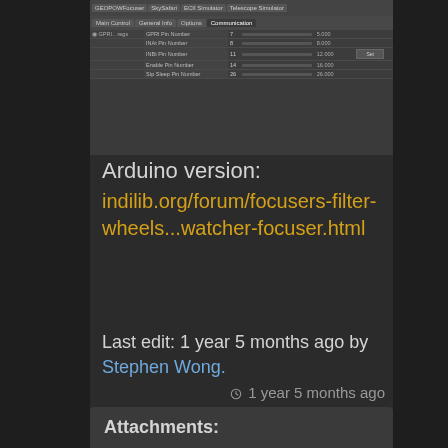[Figure (screenshot): Screenshot of a software interface showing GEOPOWFocuser with tabs (SkySafari, ECII Simulator, Telescope Simulator) and sub-tabs (Main Control, General Info, Options, Communication). Table rows show: GPRI Pin Number (7, 5.000), INAt Pin Number (8, 8.000), INBt Pin Number (11, 12.000 with Set button), Enable Pin Number (14, 16.000), Stp Sleep Pin Number (26, 26.000). Values shown with blue sliders.]
Arduino version:
indilib.org/forum/focusers-filter-wheels...watcher-focuser.html
Last edit: 1 year 5 months ago by Stephen Wong.
1 year 5 months ago
Attachments: